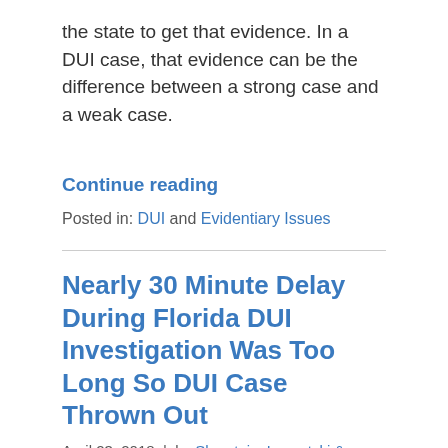the state to get that evidence. In a DUI case, that evidence can be the difference between a strong case and a weak case.
Continue reading
Posted in: DUI and Evidentiary Issues
Nearly 30 Minute Delay During Florida DUI Investigation Was Too Long So DUI Case Thrown Out
April 23, 2018 | by Shorstein, Lasnetski & Gihon
[Figure (other): Social share buttons: +Share (orange), Twitter bird icon (blue), Facebook f (dark blue), LinkedIn in (teal)]
In DUI cases, the police generally observe a